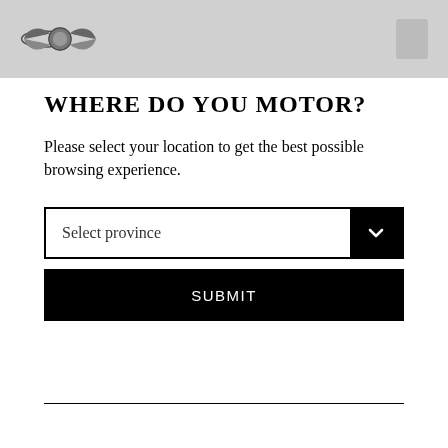[Figure (logo): MINI Cooper winged logo in header bar with grey background and a small icon on the right]
WHERE DO YOU MOTOR?
Please select your location to get the best possible browsing experience.
[Figure (screenshot): Dropdown select field labeled 'Select province' with black arrow button on right]
[Figure (screenshot): Black SUBMIT button]
[Figure (illustration): Chat bubble widget with 'Chat now' text, green online dot, and up-arrow circle icon]